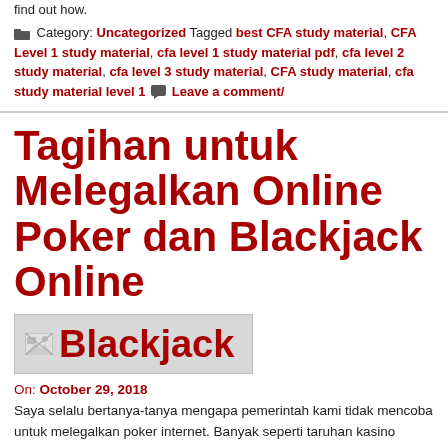find out how.
Category: Uncategorized Tagged best CFA study material, CFA Level 1 study material, cfa level 1 study material pdf, cfa level 2 study material, cfa level 3 study material, CFA study material, cfa study material level 1 Leave a comment/
Tagihan untuk Melegalkan Online Poker dan Blackjack Online
[Figure (illustration): Image placeholder box with broken image icon and text 'Blackjack' in dark red bold font on grey background]
On: October 29, 2018
Saya selalu bertanya-tanya mengapa pemerintah kami tidak mencoba untuk melegalkan poker internet. Banyak seperti taruhan kasino internet yang jauh lebih dari permainan keberuntungan online poker benar-benar lebih banyak tentang kemampuan daripada perjudian kasino online mungkin. Ketika Anda bermain dengan poker melawan persaingan, Anda